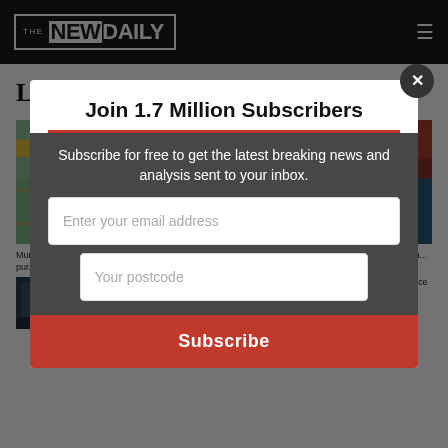THE NEW DAILY
Live News
[Figure (photo): Woman shopping in grocery store aisle, looking at product label]
Mundane criminals: What's the cost of hiding a purchase from your other one?
[Figure (photo): Netflix logo on smartphone screen with colorful background]
Advertising on Netflix arriving later than we thou...
[Figure (photo): Dark background article thumbnail - Tolkien/fantasy related]
Why Tolkien fans are bl... Rings of Power over dive...
[Figure (photo): Dark background article thumbnail - ministry related]
...ion without remorse as ...justice over ministries
Join 1.7 Million Subscribers
Subscribe for free to get the latest breaking news and analysis sent to your inbox.
Enter your email address
Your postcode
Subscribe